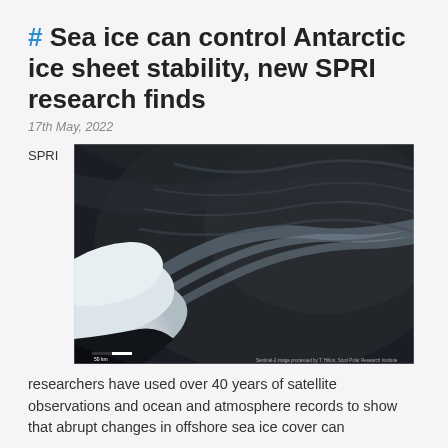# Sea ice can control Antarctic ice sheet stability, new SPRI research finds
17th May, 2022
[Figure (photo): Aerial satellite photograph of Antarctic sea ice edge meeting dark ocean water, with white ice sheet visible at lower left corner. A scale bar is visible in the lower left of the image.]
SPRI
researchers have used over 40 years of satellite observations and ocean and atmosphere records to show that abrupt changes in offshore sea ice cover can